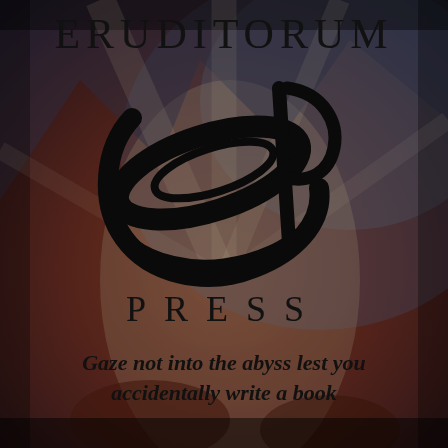[Figure (illustration): Background image showing a painterly scene with muted warm red-brown and cool blue-purple tones, depicting figures in a classical or mythological scene, overlaid with a semi-transparent dark vignette]
ERUDITORUM
[Figure (logo): Eruditorum Press logo: a stylized cursive 'EP' monogram in black, featuring a large flowing oval swash and a ribbon-like 'P' element]
PRESS
Gaze not into the abyss lest you accidentally write a book